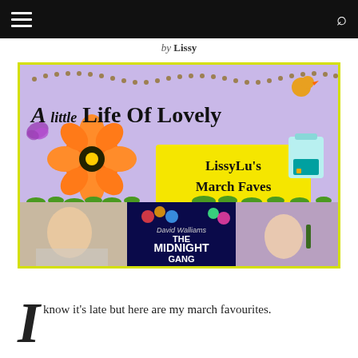≡  [navigation bar]  🔍
by Lissy
[Figure (illustration): A Little Life Of Lovely blog banner image showing LissyLu's March Faves with decorative flowers, butterflies, a backpack, photos of a girl and a book 'The Midnight Gang' by David Walliams]
I know it's late but here are my march favourites.